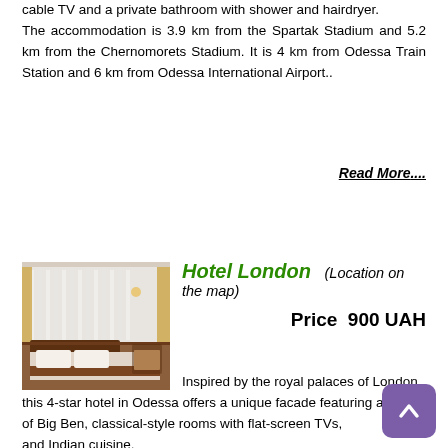cable TV and a private bathroom with shower and hairdryer. The accommodation is 3.9 km from the Spartak Stadium and 5.2 km from the Chernomorets Stadium. It is 4 km from Odessa Train Station and 6 km from Odessa International Airport..
Read More....
Hotel London  (Location on the map)
[Figure (photo): Hotel room with white curtains and brown/gold decor, bed visible]
Price  900 UAH
Inspired by the royal palaces of London, this 4-star hotel in Odessa offers a unique facade featuring a copy of Big Ben, classical-style rooms with flat-screen TVs, and Indian cuisine.